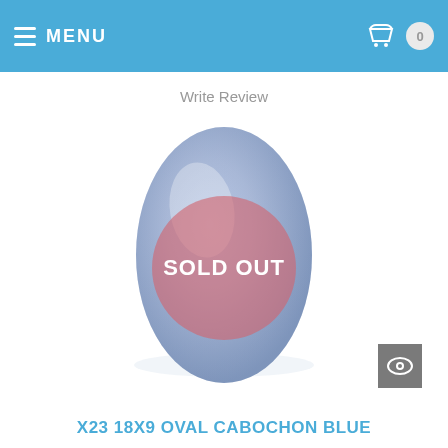MENU
Write Review
[Figure (photo): Oval cabochon blue gemstone (18x9mm) with a semi-transparent pink/rose SOLD OUT overlay circle in the center. The stone has a light blue-lavender color with a smooth polished surface.]
X23 18X9 OVAL CABOCHON BLUE